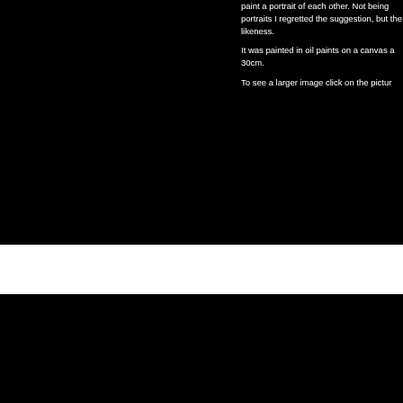paint a portrait of each other. Not being portraits I regretted the suggestion, but the likeness.

It was painted in oil paints on a canvas a 30cm.

To see a larger image click on the pictur
[Figure (photo): White bar / image placeholder area]
'Kevin'
de was executed on a stretched canvas measuring approximately 30x40cms.
rence photo taken of friend Kevin.
x on the picture to the left.